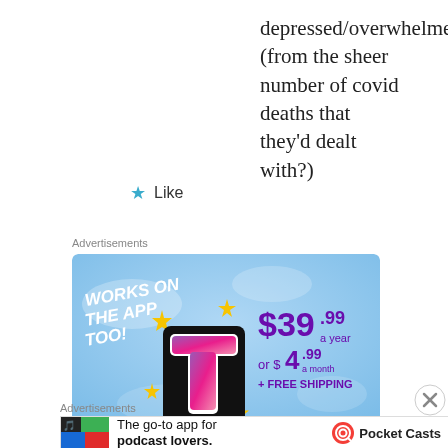depressed/overwhelmed (from the sheer number of covid deaths that they'd dealt with?)
★ Like
Advertisements
[Figure (infographic): Tumblr ad banner with sky blue background. Left side shows 'WORKS ON THE APP TOO!' in white bold italic text, and a colorful 3D Tumblr 't' logo with gold sparkle stars. Right side shows '$39.99 a year or $4.99 a month + FREE SHIPPING' in purple text.]
Advertisements
[Figure (infographic): Pocket Casts ad banner. Left image with colorful app icons. Text reads 'The go-to app for podcast lovers.' with Pocket Casts logo on right.]